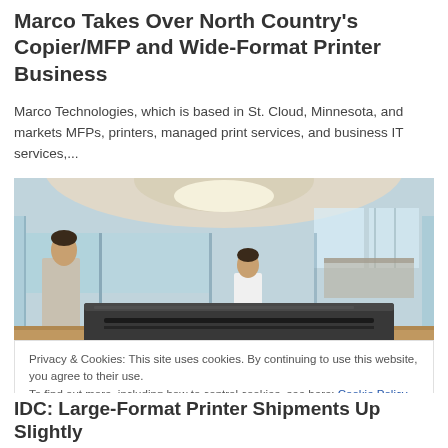Marco Takes Over North Country's Copier/MFP and Wide-Format Printer Business
Marco Technologies, which is based in St. Cloud, Minnesota, and markets MFPs, printers, managed print services, and business IT services,...
[Figure (photo): Office interior with glass walls, two people standing, and a wide-format printer/copier device on a desk in the foreground]
Privacy & Cookies: This site uses cookies. By continuing to use this website, you agree to their use.
To find out more, including how to control cookies, see here: Cookie Policy
IDC: Large-Format Printer Shipments Up Slightly